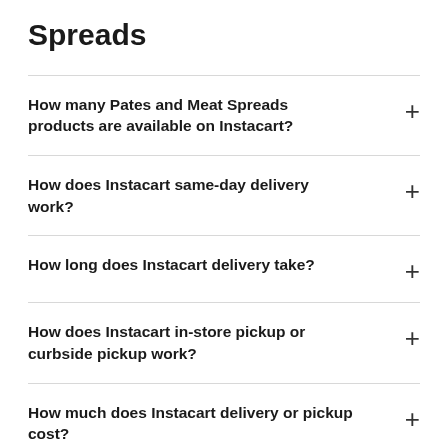Spreads
How many Pates and Meat Spreads products are available on Instacart?
How does Instacart same-day delivery work?
How long does Instacart delivery take?
How does Instacart in-store pickup or curbside pickup work?
How much does Instacart delivery or pickup cost?